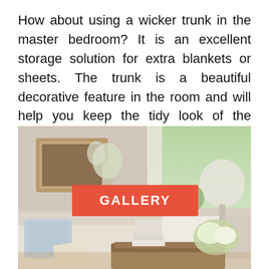How about using a wicker trunk in the master bedroom? It is an excellent storage solution for extra blankets or sheets. The trunk is a beautiful decorative feature in the room and will help you keep the tidy look of the bedroom.
[Figure (photo): A bright, cozy living room with cream-colored sofas, throw blankets, white curtains, a lamp, flowers in a vase, and a coffee table with books and flowers. A red 'GALLERY' button overlays the center of the image.]